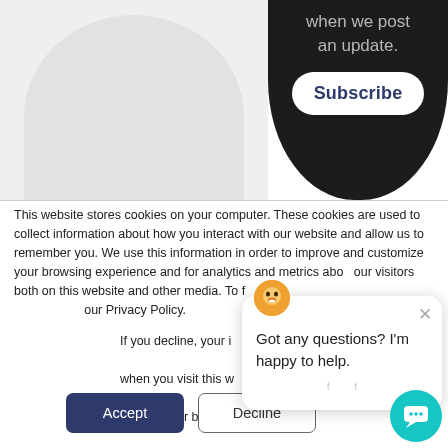[Figure (screenshot): Top section showing a dark panel (right side) with text 'when we post an update.' and a white Subscribe button, and a light grey panel (left side) with a rounded arch shape.]
This website stores cookies on your computer. These cookies are used to collect information about how you interact with our website and allow us to remember you. We use this information in order to improve and customize your browsing experience and for analytics and metrics about our visitors both on this website and other media. To f... our Privacy Policy.
If you decline, your i... when you visit this w... used in your browse... not to be tracked.
[Figure (screenshot): Chat widget popup with avatar, close button, and text 'Got any questions? I’m happy to help.']
Got any questions? I'm happy to help.
Accept
Decline